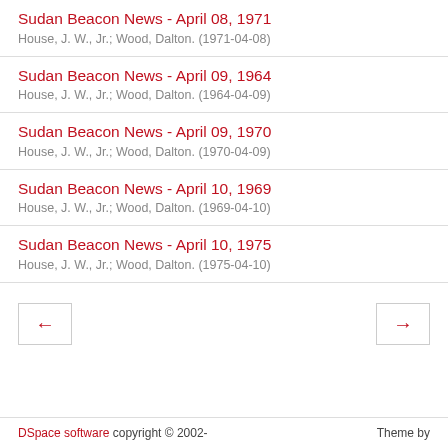Sudan Beacon News - April 08, 1971
House, J. W., Jr.; Wood, Dalton. (1971-04-08)
Sudan Beacon News - April 09, 1964
House, J. W., Jr.; Wood, Dalton. (1964-04-09)
Sudan Beacon News - April 09, 1970
House, J. W., Jr.; Wood, Dalton. (1970-04-09)
Sudan Beacon News - April 10, 1969
House, J. W., Jr.; Wood, Dalton. (1969-04-10)
Sudan Beacon News - April 10, 1975
House, J. W., Jr.; Wood, Dalton. (1975-04-10)
[Figure (other): Navigation buttons: left arrow (previous) and right arrow (next)]
DSpace software copyright © 2002-    Theme by